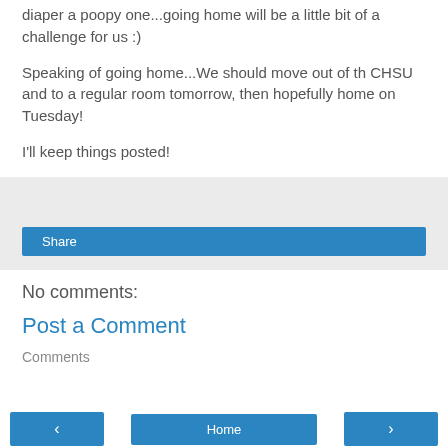diaper a poopy one...going home will be a little bit of a challenge for us :)
Speaking of going home...We should move out of th CHSU and to a regular room tomorrow, then hopefully home on Tuesday!
I'll keep things posted!
[Figure (other): Share button area with light gray background and a blue Share button]
No comments:
Post a Comment
Comments
< | Home | >